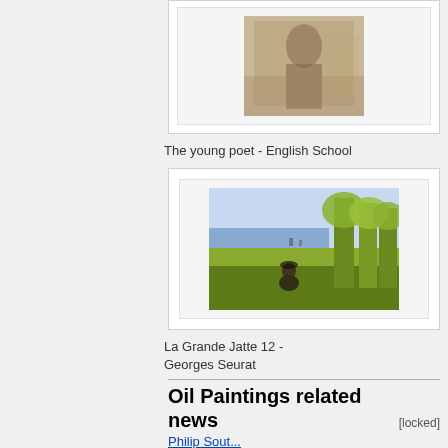[Figure (photo): Painting of a young poet, English School — a figure seated, reading or writing, in muted tones]
The young poet - English School
[Figure (photo): La Grande Jatte 12 painting by Georges Seurat — pointillist scene with a figure by a river, green trees, warm foreground]
La Grande Jatte 12 - Georges Seurat
Oil Paintings related news
[locked]